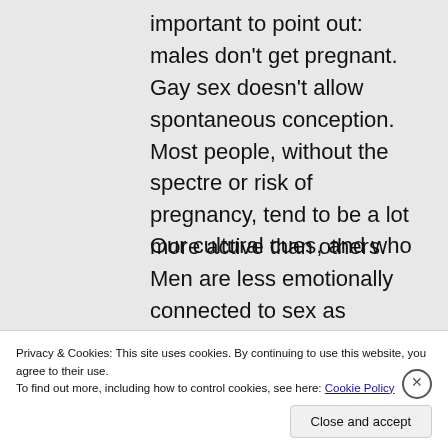important to point out: males don't get pregnant. Gay sex doesn't allow spontaneous conception. Most people, without the spectre or risk of pregnancy, tend to be a lot more active than others. Men are less emotionally connected to sex as females are.
Our cultural cues, and who
Privacy & Cookies: This site uses cookies. By continuing to use this website, you agree to their use.
To find out more, including how to control cookies, see here: Cookie Policy